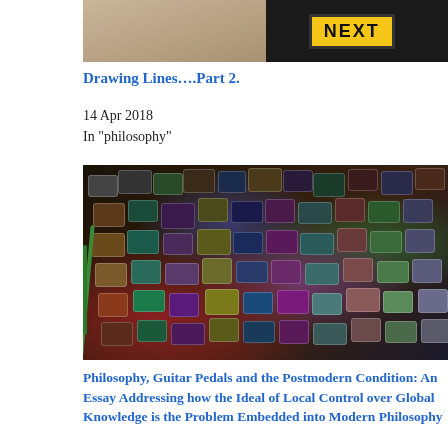[Figure (photo): Top portion of an image showing sandy/earthy ground and a yellow NEXT sign on dark background]
Drawing Lines….Part 2.
14 Apr 2018
In "philosophy"
[Figure (photo): A large collection of guitar effects pedals spread out on a dark floor, various colors and brands, with cables connecting them]
Philosophy, Guitar Pedals and the Postmodern Condition: An Essay Addressing how the Ideal of Local Control over Global Knowledge is the Problem Embedded into Modern Philosophy